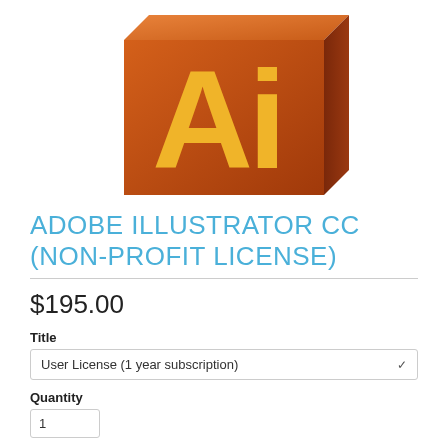[Figure (logo): Adobe Illustrator CC orange 3D box logo with yellow 'Ai' lettering on a gradient orange cube]
ADOBE ILLUSTRATOR CC (NON-PROFIT LICENSE)
$195.00
Title
User License (1 year subscription)
Quantity
1